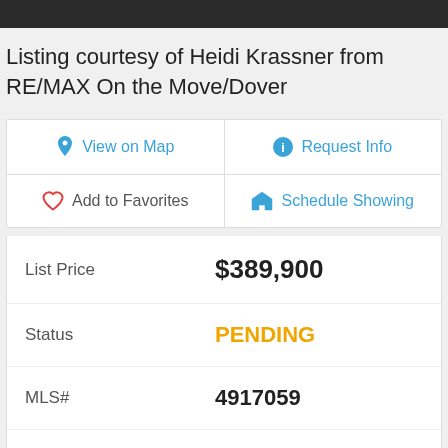Listing courtesy of Heidi Krassner from RE/MAX On the Move/Dover
| View on Map | Request Info |
| Add to Favorites | Schedule Showing |
| Field | Value |
| --- | --- |
| List Price | $389,900 |
| Status | PENDING |
| MLS# | 4917059 |
| Bedrooms | 4 |
| Bathrooms | 2 |